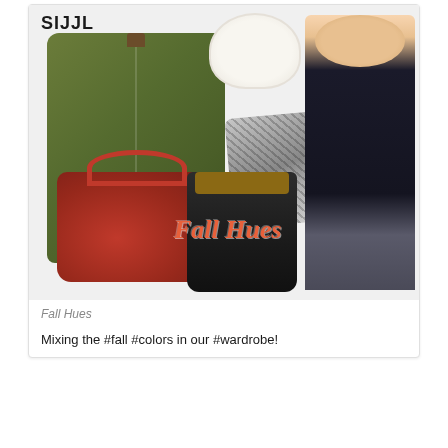[Figure (photo): Fashion collage showing a fall/autumn outfit collection: olive green hooded parka coat, white chunky knit beanie hat, grey animal-print scarf, red leather handbag, black ankle boots with gold buckle, and a female model wearing a navy blue dress with a white knit beanie. Text overlay reads 'Fall Hues' in orange italic script. Logo 'SIJJL' appears top left.]
Fall Hues
Mixing the #fall #colors in our #wardrobe!